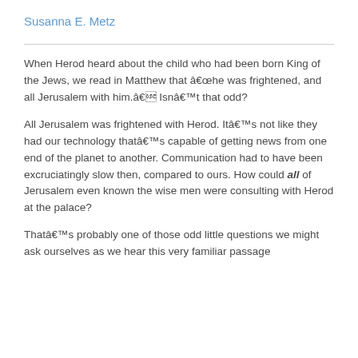Susanna E. Metz
When Herod heard about the child who had been born King of the Jews, we read in Matthew that âhe was frightened, and all Jerusalem with him.â Isnât that odd?
All Jerusalem was frightened with Herod. Itâs not like they had our technology thatâs capable of getting news from one end of the planet to another. Communication had to have been excruciatingly slow then, compared to ours. How could all of Jerusalem even known the wise men were consulting with Herod at the palace?
Thatâs probably one of those odd little questions we might ask ourselves as we hear this very familiar passage